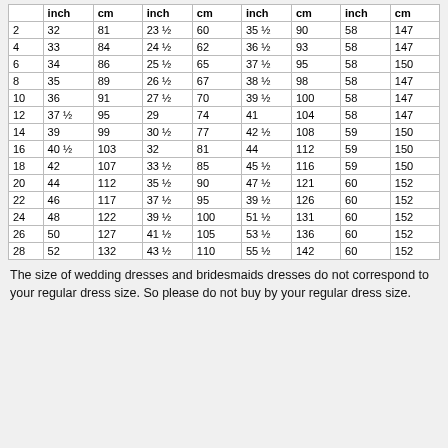|  | inch | cm | inch | cm | inch | cm | inch | cm |
| --- | --- | --- | --- | --- | --- | --- | --- | --- |
| 2 | 32 | 81 | 23 ½ | 60 | 35 ½ | 90 | 58 | 147 |
| 4 | 33 | 84 | 24 ½ | 62 | 36 ½ | 93 | 58 | 147 |
| 6 | 34 | 86 | 25 ½ | 65 | 37 ½ | 95 | 58 | 150 |
| 8 | 35 | 89 | 26 ½ | 67 | 38 ½ | 98 | 58 | 147 |
| 10 | 36 | 91 | 27 ½ | 70 | 39 ½ | 100 | 58 | 147 |
| 12 | 37 ½ | 95 | 29 | 74 | 41 | 104 | 58 | 147 |
| 14 | 39 | 99 | 30 ½ | 77 | 42 ½ | 108 | 59 | 150 |
| 16 | 40 ½ | 103 | 32 | 81 | 44 | 112 | 59 | 150 |
| 18 | 42 | 107 | 33 ½ | 85 | 45 ½ | 116 | 59 | 150 |
| 20 | 44 | 112 | 35 ½ | 90 | 47 ½ | 121 | 60 | 152 |
| 22 | 46 | 117 | 37 ½ | 95 | 39 ½ | 126 | 60 | 152 |
| 24 | 48 | 122 | 39 ½ | 100 | 51 ½ | 131 | 60 | 152 |
| 26 | 50 | 127 | 41 ½ | 105 | 53 ½ | 136 | 60 | 152 |
| 28 | 52 | 132 | 43 ½ | 110 | 55 ½ | 142 | 60 | 152 |
The size of wedding dresses and bridesmaids dresses do not correspond to your regular dress size. So please do not buy by your regular dress size.